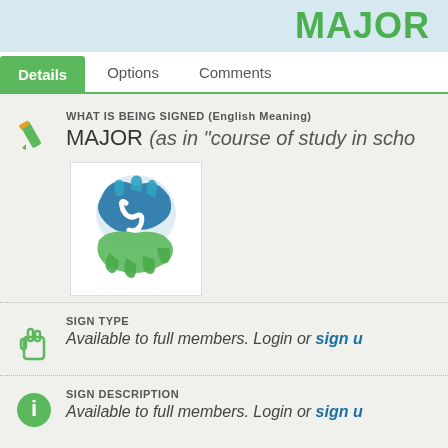MAJOR
Details   Options   Comments
WHAT IS BEING SIGNED (English Meaning)
MAJOR (as in "course of study in scho..."
[Figure (logo): Sign language / SpreadTheSign logo: stylized hands forming an S shape in teal and green colors]
SIGN TYPE
Available to full members. Login or sign u...
SIGN DESCRIPTION
Available to full members. Login or sign u...